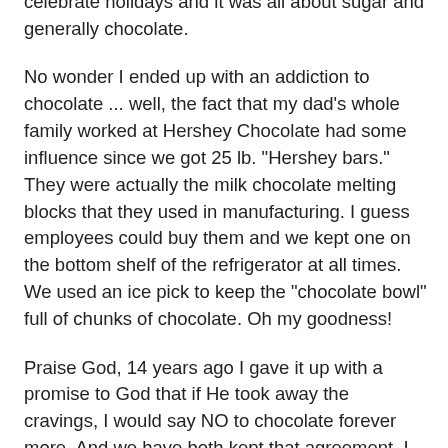tree). What a hoot! My mom definitely liked to celebrate holidays and it was all about sugar and generally chocolate.
No wonder I ended up with an addiction to chocolate ... well, the fact that my dad's whole family worked at Hershey Chocolate had some influence since we got 25 lb. "Hershey bars." They were actually the milk chocolate melting blocks that they used in manufacturing. I guess employees could buy them and we kept one on the bottom shelf of the refrigerator at all times.  We used an ice pick to keep the "chocolate bowl" full of chunks of chocolate. Oh my goodness!
Praise God, 14 years ago I gave it up with a promise to God that if He took away the cravings, I would say NO to chocolate forever more. And we have both kept that agreement. I also felt that spiritually it would keep addiction out of reach for my only child. It was also a great motivator.
Once I gave up chocolate, sugar has not been as tempting. It seems most of what I loved about sugar was also chocolate. We booted white flour and sugar out of our home in the late